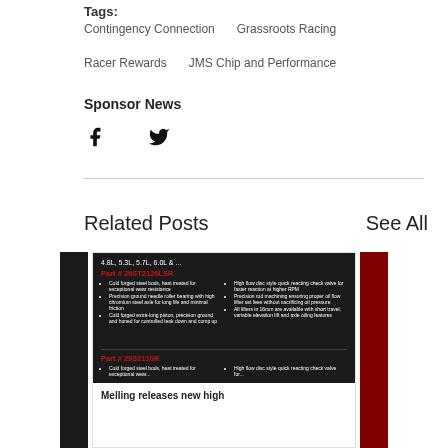Tags:
Contingency Connection   Grassroots Racing
Racer Rewards   JMS Chip and Performance
Sponsor News
[Figure (infographic): Social share icons: Facebook and Twitter]
Related Posts
See All
[Figure (screenshot): Product advertisement image for Melling high performance parts showing Part# 29ST2126LSR and Part# 29S2110R with bullet point features on dark background with lifter graphics]
Melling releases new high